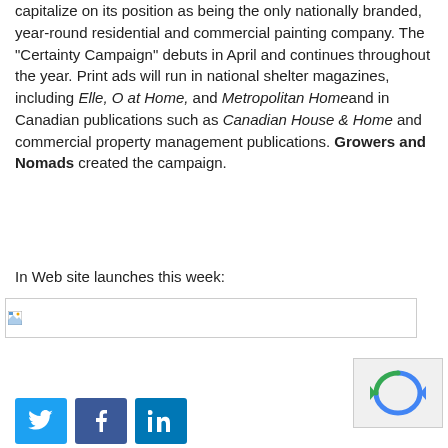capitalize on its position as being the only nationally branded, year-round residential and commercial painting company. The "Certainty Campaign" debuts in April and continues throughout the year. Print ads will run in national shelter magazines, including Elle, O at Home, and Metropolitan Home and in Canadian publications such as Canadian House & Home and commercial property management publications. Growers and Nomads created the campaign.
In Web site launches this week:
[Figure (other): Broken image placeholder with small icon]
[Figure (other): reCAPTCHA widget showing spinning arrows logo]
[Figure (other): Social media share buttons: Twitter, Facebook, LinkedIn]